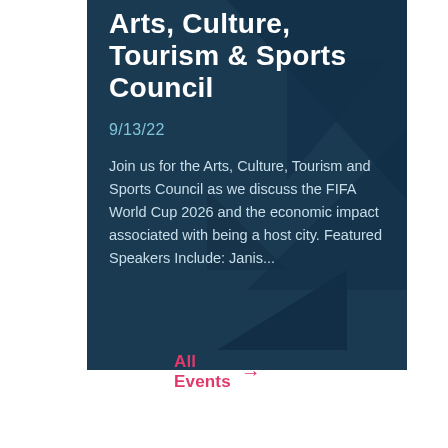Arts, Culture, Tourism & Sports Council
9/13/22
Join us for the Arts, Culture, Tourism and Sports Council as we discuss the FIFA World Cup 2026 and the economic impact associated with being a host city. Featured Speakers Include: Janis...
All Events →